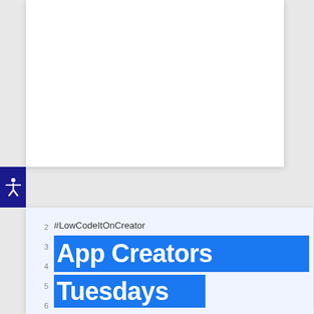[Figure (screenshot): Top white card area - blank white panel in a webpage screenshot context]
[Figure (illustration): Dark blue accessibility icon button showing a human figure with arms outstretched, positioned on the left side]
[Figure (screenshot): Code editor or presentation slide showing hashtag #LowCodeItOnCreator and large blue highlighted text reading 'App Creators' and partially visible 'Tuesdays']
#LowCodeItOnCreator
App Creators
Tuesdays